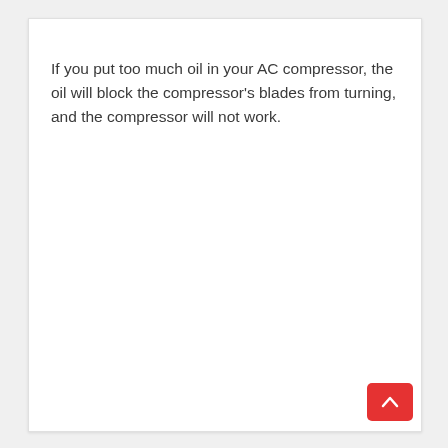If you put too much oil in your AC compressor, the oil will block the compressor's blades from turning, and the compressor will not work.